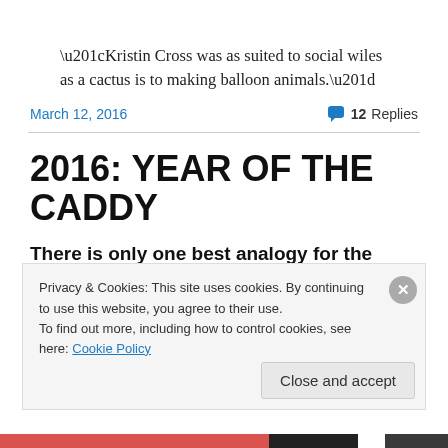“Kristin Cross was as suited to social wiles as a cactus is to making balloon animals.”
March 12, 2016    💬 12 Replies
2016: YEAR OF THE CADDY
There is only one best analogy for the Donald Trump phenomenon. Sure, it’s not perfect. But if it was perfect it would be truth, not analogy. The 2016 U.S.
Privacy & Cookies: This site uses cookies. By continuing to use this website, you agree to their use.
To find out more, including how to control cookies, see here: Cookie Policy
Close and accept